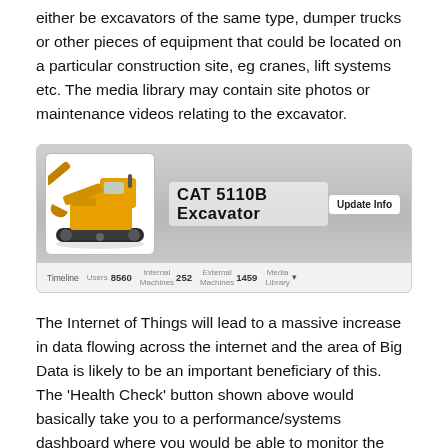either be excavators of the same type, dumper trucks or other pieces of equipment that could be located on a particular construction site, eg cranes, lift systems etc. The media library may contain site photos or maintenance videos relating to the excavator.
[Figure (screenshot): Screenshot of a CAT 5110B Excavator profile page showing an excavator image on the left, title 'CAT 5110B Excavator', an 'Update Info' button, and navigation tabs: Timeline, Users 8560, Internal Machines 252, External Machines 1459, Media Library]
The Internet of Things will lead to a massive increase in data flowing across the internet and the area of Big Data is likely to be an important beneficiary of this.  The 'Health Check' button shown above would basically take you to a performance/systems dashboard where you would be able to monitor the performance of the excavator and make